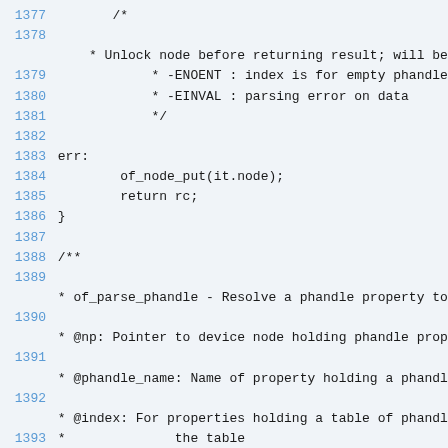Source code listing, lines 1377–1395, showing C kernel code comments and function definitions including of_parse_phandle documentation